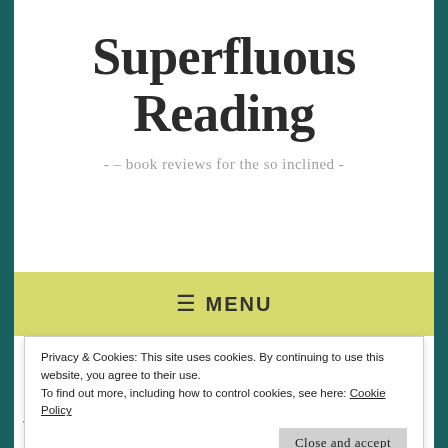Superfluous Reading
- – book reviews for the so inclined -
☰ MENU
Privacy & Cookies: This site uses cookies. By continuing to use this website, you agree to their use.
To find out more, including how to control cookies, see here: Cookie Policy
Close and accept
In Foreign Fields: